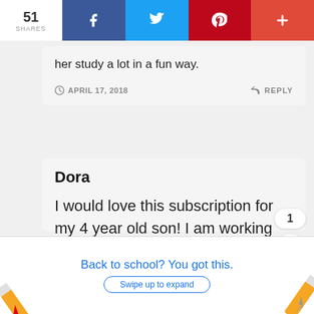51 SHARES | Facebook | Twitter | Pinterest | +
her study a lot in a fun way.
APRIL 17, 2018    REPLY
Dora
I would love this subscription for my 4 year old son! I am working on teaching him more Spanish and practicing as much as we can. These books look
Back to school? You got this.
Swipe up to expand